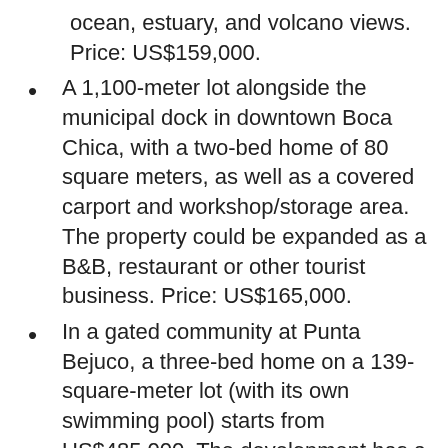ocean, estuary, and volcano views. Price: US$159,000.
A 1,100-meter lot alongside the municipal dock in downtown Boca Chica, with a two-bed home of 80 square meters, as well as a covered carport and workshop/storage area. The property could be expanded as a B&B, restaurant or other tourist business. Price: US$165,000.
In a gated community at Punta Bejuco, a three-bed home on a 139-square-meter lot (with its own swimming pool) starts from US$485,000. The development has a helipad, barbecue area, dock, club house, and access to four beaches.